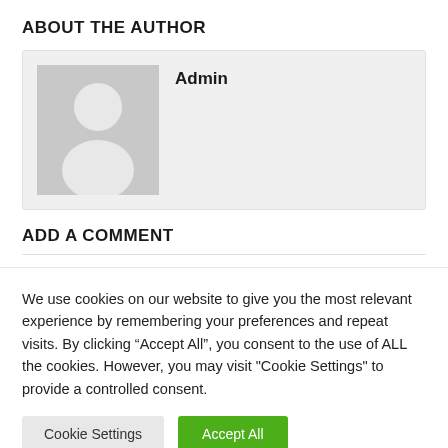ABOUT THE AUTHOR
[Figure (illustration): Author card with a generic grey avatar placeholder image and the name 'Admin']
ADD A COMMENT
We use cookies on our website to give you the most relevant experience by remembering your preferences and repeat visits. By clicking “Accept All”, you consent to the use of ALL the cookies. However, you may visit "Cookie Settings" to provide a controlled consent.